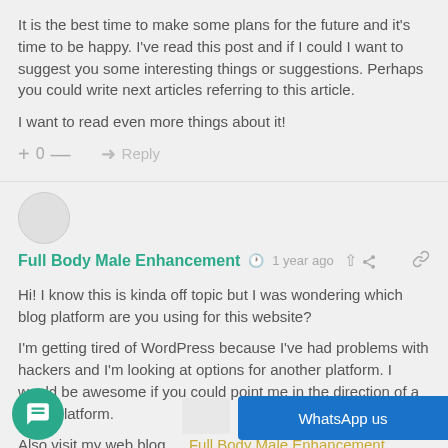It is the best time to make some plans for the future and it's time to be happy. I've read this post and if I could I want to suggest you some interesting things or suggestions. Perhaps you could write next articles referring to this article.

I want to read even more things about it!
+ 0 — → Reply
[Figure (other): Grey circular avatar placeholder]
Full Body Male Enhancement  🕐 1 year ago  🔗
Hi! I know this is kinda off topic but I was wondering which blog platform are you using for this website?

I'm getting tired of WordPress because I've had problems with hackers and I'm looking at options for another platform. I would be awesome if you could point me in the direction of a good platform.

Also visit my web blog … Full Body Male Enhancement
[Figure (other): Green chat bubble button]
WhatsApp us